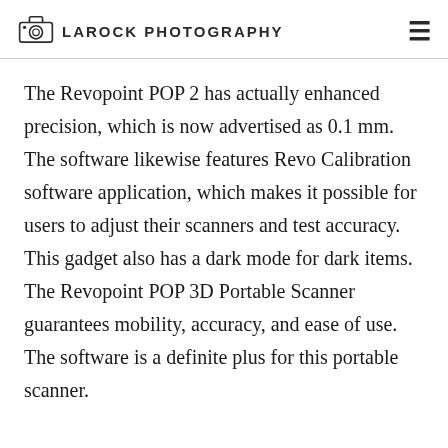LAROCK PHOTOGRAPHY
The Revopoint POP 2 has actually enhanced precision, which is now advertised as 0.1 mm. The software likewise features Revo Calibration software application, which makes it possible for users to adjust their scanners and test accuracy. This gadget also has a dark mode for dark items. The Revopoint POP 3D Portable Scanner guarantees mobility, accuracy, and ease of use. The software is a definite plus for this portable scanner.